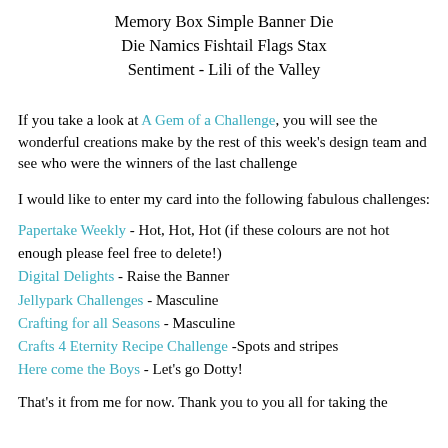Memory Box Simple Banner Die
Die Namics Fishtail Flags Stax
Sentiment - Lili of the Valley
If you take a look at A Gem of a Challenge, you will see the wonderful creations make by the rest of this week's design team and see who were the winners of the last challenge
I would like to enter my card into the following fabulous challenges:
Papertake Weekly - Hot, Hot, Hot (if these colours are not hot enough please feel free to delete!)
Digital Delights - Raise the Banner
Jellypark Challenges - Masculine
Crafting for all Seasons - Masculine
Crafts 4 Eternity Recipe Challenge -Spots and stripes
Here come the Boys - Let's go Dotty!
That's it from me for now. Thank you to you all for taking the